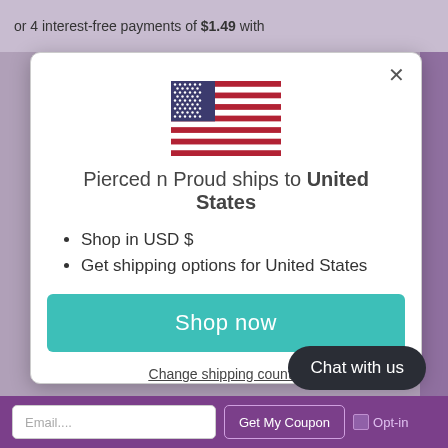or 4 interest-free payments of $1.49 with
[Figure (illustration): American flag icon]
Pierced n Proud ships to United States
Shop in USD $
Get shipping options for United States
Shop now
Change shipping country
Chat with us
Email....
Get My Coupon
Opt-in